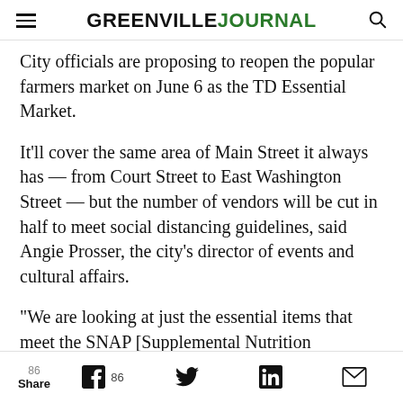GREENVILLE JOURNAL
City officials are proposing to reopen the popular farmers market on June 6 as the TD Essential Market.
It'll cover the same area of Main Street it always has — from Court Street to East Washington Street — but the number of vendors will be cut in half to meet social distancing guidelines, said Angie Prosser, the city's director of events and cultural affairs.
“We are looking at just the essential items that meet the SNAP [Supplemental Nutrition Assistance Program] guidelines,” Prosser said
Share  86  86  (Twitter)  in  (Email)